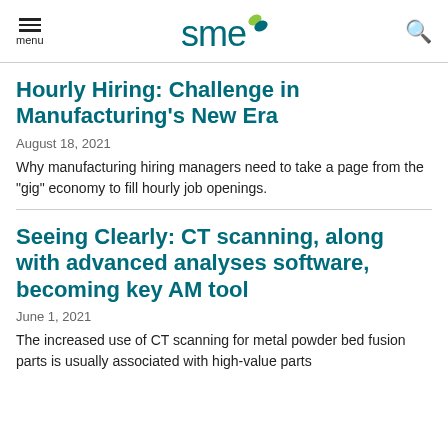menu | SME | search
Hourly Hiring: Challenge in Manufacturing's New Era
August 18, 2021
Why manufacturing hiring managers need to take a page from the "gig" economy to fill hourly job openings.
Seeing Clearly: CT scanning, along with advanced analyses software, becoming key AM tool
June 1, 2021
The increased use of CT scanning for metal powder bed fusion parts is usually associated with high-value parts